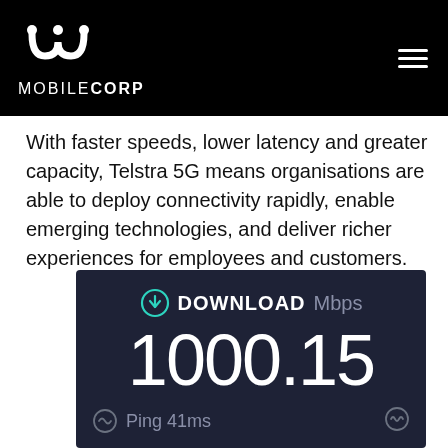[Figure (logo): MobileCorp logo with stylized 'M' icon and text 'MOBILECORP' in white on black header background, with hamburger menu icon on right]
With faster speeds, lower latency and greater capacity, Telstra 5G means organisations are able to deploy connectivity rapidly, enable emerging technologies, and deliver richer experiences for employees and customers.
[Figure (screenshot): Speed test result showing DOWNLOAD Mbps: 1000.15, Ping 41ms on dark navy background]